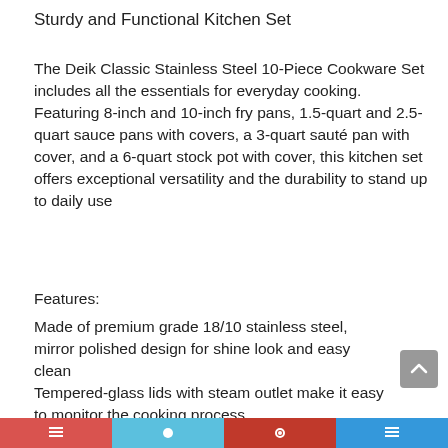Sturdy and Functional Kitchen Set
The Deik Classic Stainless Steel 10-Piece Cookware Set includes all the essentials for everyday cooking. Featuring 8-inch and 10-inch fry pans, 1.5-quart and 2.5-quart sauce pans with covers, a 3-quart sauté pan with cover, and a 6-quart stock pot with cover, this kitchen set offers exceptional versatility and the durability to stand up to daily use
Features:
Made of premium grade 18/10 stainless steel, mirror polished design for shine look and easy clean
Tempered-glass lids with steam outlet make it easy to monitor the cooking process
Convenient etched marks for easy measuring and tapered rim for drip-free pouring